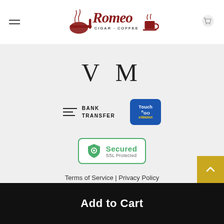[Figure (logo): Romeo Cigar Coffee logo with pipe and coffee cup graphics, dark red script lettering]
VM
[Figure (logo): Bank Transfer icon with three horizontal lines and text BANK TRANSFER]
[Figure (logo): Touch n Go eWallet badge, blue rounded rectangle]
[Figure (logo): Secured SSL Protected badge with green shield icon and green border]
Terms of Service | Privacy Policy
Add to Cart